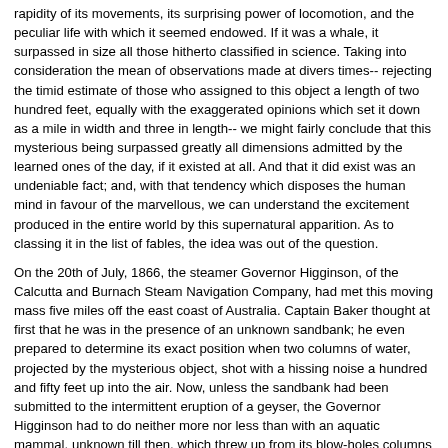rapidity of its movements, its surprising power of locomotion, and the peculiar life with which it seemed endowed. If it was a whale, it surpassed in size all those hitherto classified in science. Taking into consideration the mean of observations made at divers times-- rejecting the timid estimate of those who assigned to this object a length of two hundred feet, equally with the exaggerated opinions which set it down as a mile in width and three in length-- we might fairly conclude that this mysterious being surpassed greatly all dimensions admitted by the learned ones of the day, if it existed at all. And that it did exist was an undeniable fact; and, with that tendency which disposes the human mind in favour of the marvellous, we can understand the excitement produced in the entire world by this supernatural apparition. As to classing it in the list of fables, the idea was out of the question.
On the 20th of July, 1866, the steamer Governor Higginson, of the Calcutta and Burnach Steam Navigation Company, had met this moving mass five miles off the east coast of Australia. Captain Baker thought at first that he was in the presence of an unknown sandbank; he even prepared to determine its exact position when two columns of water, projected by the mysterious object, shot with a hissing noise a hundred and fifty feet up into the air. Now, unless the sandbank had been submitted to the intermittent eruption of a geyser, the Governor Higginson had to do neither more nor less than with an aquatic mammal, unknown till then, which threw up from its blow-holes columns of water mixed with air and vapour.
Similar facts were observed on the 23rd of July in the same year, in the Pacific Ocean, by the Columbus, of the West India and Pacific Steam Navigation Company. But this extraordinary creature could transport itself from one place to another with surprising velocity; as, in an interval of three days, the Governor Higginson and the Columbus had observed it at two different points of the chart, separated by a distance of more than seven hundred nautical leagues.
Fifteen days later, two thousand miles farther off, the Helvetia, of the Compagnie-Nationale, and the Shannon, of the Royal Mail Steamship Company, sailing to windward in that portion of the Atlantic lying between the United States and Europe, respectively signalled the monster to each other in 42@ 15' N. lat. and 60@ 35' W. long. In these simultaneous observations they thought themselves justified in estimating the minimum length of the mammal at more than three hundred and fifty feet, as the Shannon and Helvetia were of